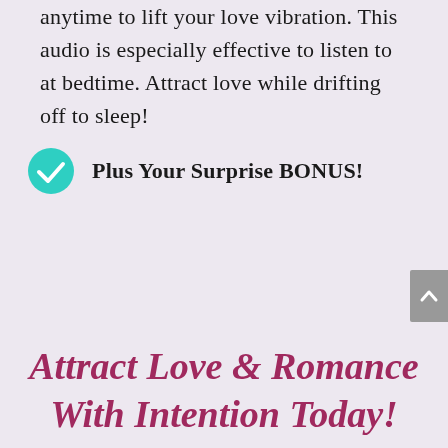anytime to lift your love vibration. This audio is especially effective to listen to at bedtime. Attract love while drifting off to sleep!
Plus Your Surprise BONUS!
Attract Love & Romance With Intention Today!